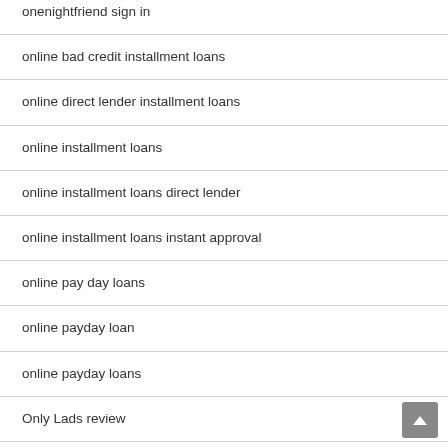onenightfriend sign in
online bad credit installment loans
online direct lender installment loans
online installment loans
online installment loans direct lender
online installment loans instant approval
online pay day loans
online payday loan
online payday loans
Only Lads review
ontario escort directory
orange eros escort
Oregon installment loans